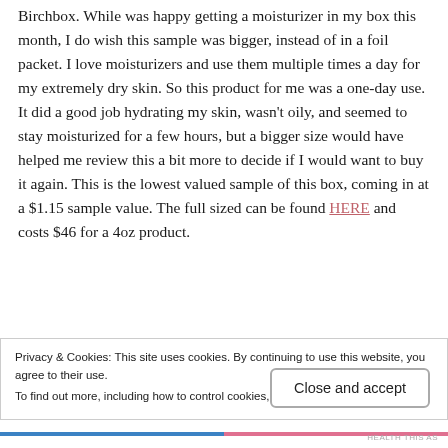Birchbox. While was happy getting a moisturizer in my box this month, I do wish this sample was bigger, instead of in a foil packet. I love moisturizers and use them multiple times a day for my extremely dry skin. So this product for me was a one-day use. It did a good job hydrating my skin, wasn't oily, and seemed to stay moisturized for a few hours, but a bigger size would have helped me review this a bit more to decide if I would want to buy it again. This is the lowest valued sample of this box, coming in at a $1.15 sample value. The full sized can be found HERE and costs $46 for a 4oz product.
Privacy & Cookies: This site uses cookies. By continuing to use this website, you agree to their use. To find out more, including how to control cookies, see here: Cookie Policy
Close and accept